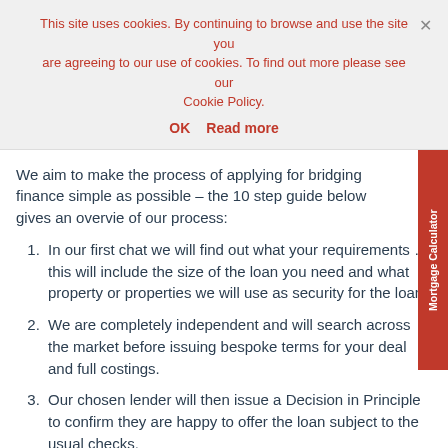This site uses cookies. By continuing to browse and use the site you are agreeing to our use of cookies. To find out more please see our Cookie Policy.
OK   Read more
We aim to make the process of applying for bridging finance simple as possible – the 10 step guide below gives an overview of our process:
In our first chat we will find out what your requirements … this will include the size of the loan you need and what property or properties we will use as security for the loan.
We are completely independent and will search across the market before issuing bespoke terms for your deal and full costings.
Our chosen lender will then issue a Decision in Principle to confirm they are happy to offer the loan subject to the usual checks.
You will then give us the go ahead to proceed with the deal.